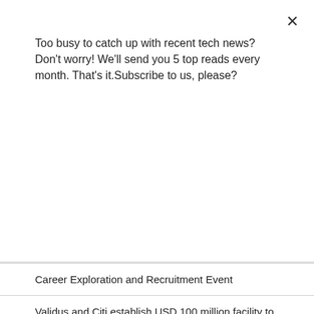Too busy to catch up with recent tech news? Don't worry! We'll send you 5 top reads every month. That's it.Subscribe to us, please?
Subscribe
Career Exploration and Recruitment Event
Validus and Citi establish USD 100 million facility to drive SME financing
M1 rolls out 5G offshore coverage for the Southern Coast
NCS ramps up digital services arm NEXT to meet growing global demand
Logitech Introduces the G502 X Gaming Mouse